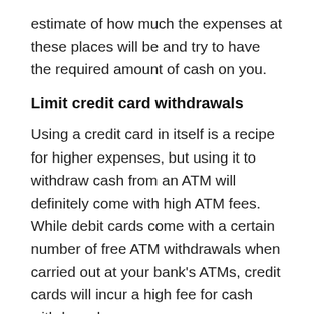estimate of how much the expenses at these places will be and try to have the required amount of cash on you.
Limit credit card withdrawals
Using a credit card in itself is a recipe for higher expenses, but using it to withdraw cash from an ATM will definitely come with high ATM fees. While debit cards come with a certain number of free ATM withdrawals when carried out at your bank's ATMs, credit cards will incur a high fee for cash withdrawals.
Make sure to either leave your credit card at home to avoid taking out cash with it or